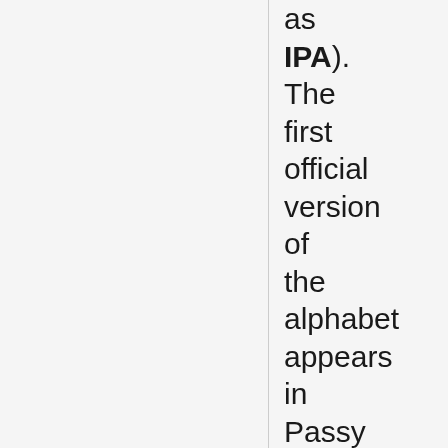as IPA). The first official version of the alphabet appears in Passy (1888). These teachers based